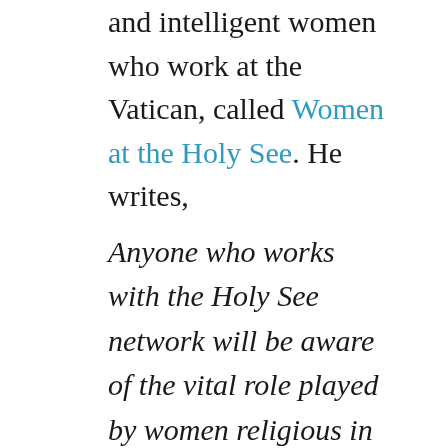and intelligent women who work at the Vatican, called Women at the Holy See. He writes,
Anyone who works with the Holy See network will be aware of the vital role played by women religious in almost every aspect of Church life on the ground and across the world, be it in